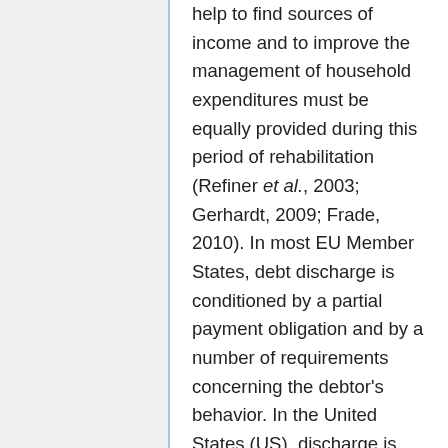help to find sources of income and to improve the management of household expenditures must be equally provided during this period of rehabilitation (Refiner et al., 2003; Gerhardt, 2009; Frade, 2010). In most EU Member States, debt discharge is conditioned by a partial payment obligation and by a number of requirements concerning the debtor's behavior. In the United States (US), discharge is conditioned to a lesser extent. The spectrum is broad in the EU, with the UK coming closest to the US system (Reifner et al., 2003; Gerhardt, 2009; Frade, 2010). The Other Member States do not provide the option of a debt discharge. Spain, for example, passed a bankruptcy law (ley concurs) in 2003 which provides for debt settlement plans that can result in a reduction of the